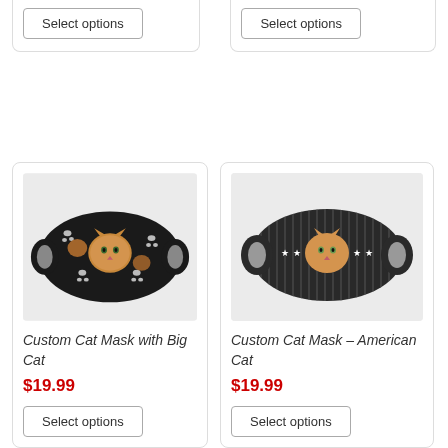Select options
Select options
[Figure (photo): Custom cat face mask with big cat print on black background with paw prints]
Custom Cat Mask with Big Cat
$19.99
Select options
[Figure (photo): Custom cat face mask with American cat striped design and cat face in center]
Custom Cat Mask – American Cat
$19.99
Select options